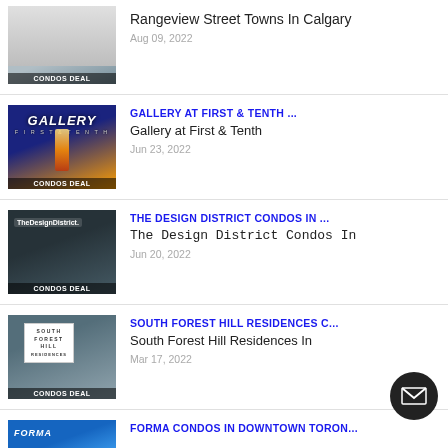Rangeview Street Towns In Calgary | Aug 09, 2022
GALLERY AT FIRST & TENTH ... | Gallery at First & Tenth | Jun 23, 2022
THE DESIGN DISTRICT CONDOS IN ... | The Design District Condos In | Jun 20, 2022
SOUTH FOREST HILL RESIDENCES C... | South Forest Hill Residences In | Mar 17, 2022
FORMA CONDOS IN DOWNTOWN TORON...